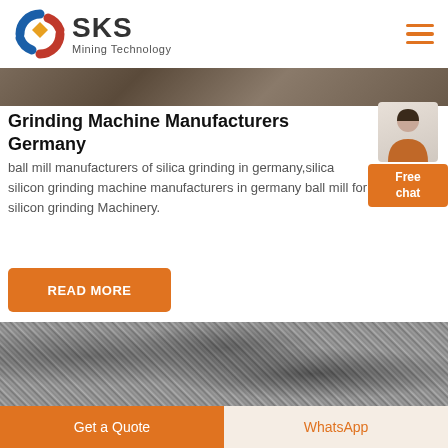SKS Mining Technology
[Figure (photo): Partial machinery/mining equipment photo strip at top]
Grinding Machine Manufacturers Germany
ball mill manufacturers of silica grinding in germany,silica silicon grinding machine manufacturers in germany ball mill for silicon grinding Machinery.
[Figure (other): Free chat button overlay with customer service representative image]
[Figure (other): Orange READ MORE button]
[Figure (photo): Gravel/aggregate material texture photo]
Get a Quote   WhatsApp